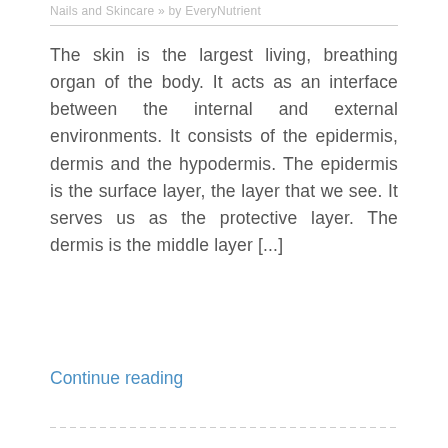Nails and Skincare » by EveryNutrient
The skin is the largest living, breathing organ of the body. It acts as an interface between the internal and external environments. It consists of the epidermis, dermis and the hypodermis. The epidermis is the surface layer, the layer that we see. It serves us as the protective layer. The dermis is the middle layer [...]
Continue reading